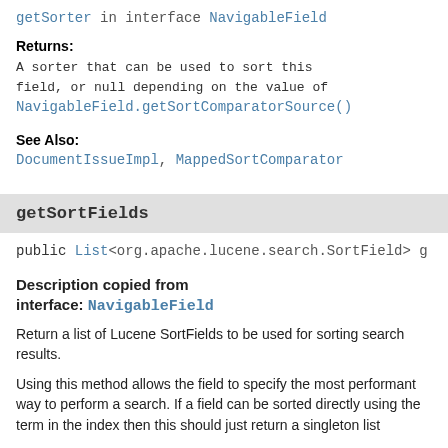getSorter in interface NavigableField
Returns:
A sorter that can be used to sort this field, or null depending on the value of NavigableField.getSortComparatorSource()
See Also:
DocumentIssueImpl, MappedSortComparator
getSortFields
public List<org.apache.lucene.search.SortField> g
Description copied from interface: NavigableField
Return a list of Lucene SortFields to be used for sorting search results.
Using this method allows the field to specify the most performant way to perform a search. If a field can be sorted directly using the term in the index then this should just return a singleton list